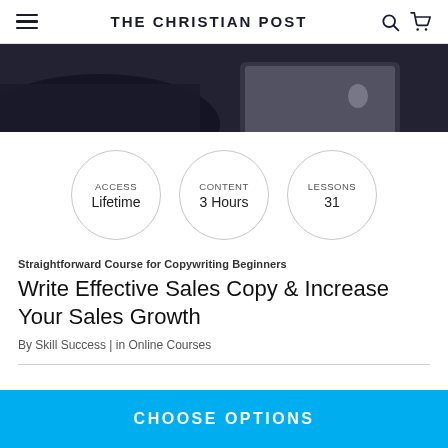THE CHRISTIAN POST
[Figure (photo): Person in dark clothing working on a laptop computer, viewed from above at an angle]
[Figure (infographic): Three circles showing course details: ACCESS Lifetime, CONTENT 3 Hours, LESSONS 31]
Straightforward Course for Copywriting Beginners
Write Effective Sales Copy & Increase Your Sales Growth
By Skill Success | in Online Courses